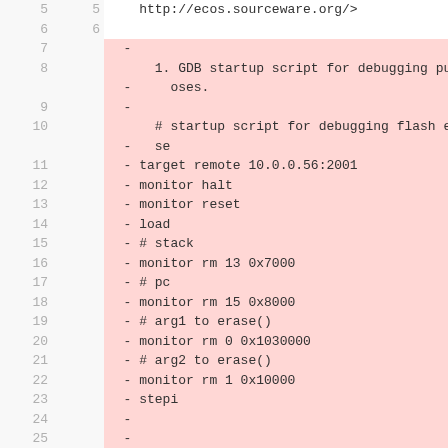| old | new | code |
| --- | --- | --- |
| 5 | 5 |     http://ecos.sourceware.org/> |
| 6 | 6 |  |
| 7 |  |   - |
| 8 |  |       1. GDB startup script for debugging purp |
|  |  |   -     oses. |
| 9 |  |   - |
| 10 |  |       # startup script for debugging flash era |
|  |  |   -   se |
| 11 |  |   - target remote 10.0.0.56:2001 |
| 12 |  |   - monitor halt |
| 13 |  |   - monitor reset |
| 14 |  |   - load |
| 15 |  |   - # stack |
| 16 |  |   - monitor rm 13 0x7000 |
| 17 |  |   - # pc |
| 18 |  |   - monitor rm 15 0x8000 |
| 19 |  |   - # arg1 to erase() |
| 20 |  |   - monitor rm 0 0x1030000 |
| 21 |  |   - # arg2 to erase() |
| 22 |  |   - monitor rm 1 0x10000 |
| 23 |  |   - stepi |
| 24 |  |   - |
| 25 |  |   - |